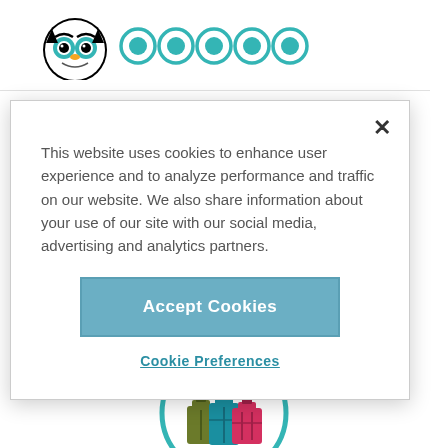[Figure (logo): TripAdvisor owl logo with five teal rating circles]
This website uses cookies to enhance user experience and to analyze performance and traffic on our website. We also share information about your use of our site with our social media, advertising and analytics partners.
Accept Cookies
Cookie Preferences
The DoubleTree by Hilton Cambridge offers families 122 guestrooms and suites with king, queen, single and sofa beds, mini-fridges, Internet access (fee), flat-screen TV's
[Figure (illustration): Travel luggage icon inside a teal circle at the bottom of the page]